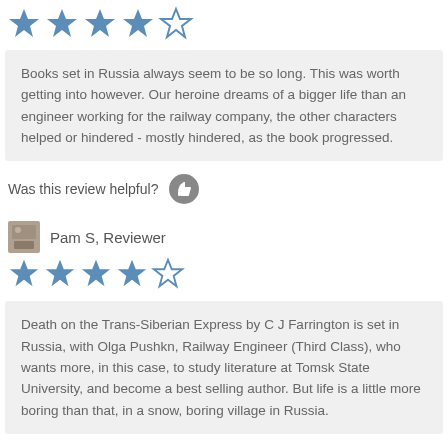[Figure (other): 4 out of 5 stars rating (first review)]
Books set in Russia always seem to be so long. This was worth getting into however. Our heroine dreams of a bigger life than an engineer working for the railway company, the other characters helped or hindered - mostly hindered, as the book progressed.
Was this review helpful?
Pam S, Reviewer
[Figure (other): 4 out of 5 stars rating (Pam S review)]
Death on the Trans-Siberian Express by C J Farrington is set in Russia, with Olga Pushkn, Railway Engineer (Third Class), who wants more, in this case, to study literature at Tomsk State University, and become a best selling author.  But life is a little more boring than that, in a snow, boring village in Russia.